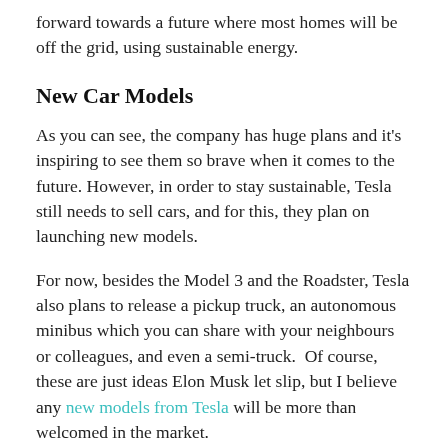forward towards a future where most homes will be off the grid, using sustainable energy.
New Car Models
As you can see, the company has huge plans and it's inspiring to see them so brave when it comes to the future. However, in order to stay sustainable, Tesla still needs to sell cars, and for this, they plan on launching new models.
For now, besides the Model 3 and the Roadster, Tesla also plans to release a pickup truck, an autonomous minibus which you can share with your neighbours or colleagues, and even a semi-truck. Of course, these are just ideas Elon Musk let slip, but I believe any new models from Tesla will be more than welcomed in the market.
What is the Problem?